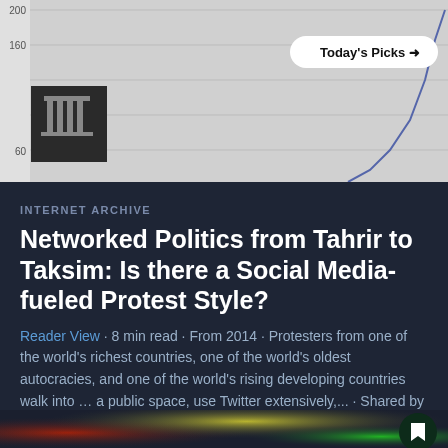[Figure (continuous-plot): A line chart showing data trending upward with y-axis labels 200, 160, 60 visible. A dark blue/purple line rises sharply on the right side. The chart has horizontal gridlines on a light gray background.]
Today's Picks →
INTERNET ARCHIVE
Networked Politics from Tahrir to Taksim: Is there a Social Media-fueled Protest Style?
Reader View · 8 min read · From 2014 · Protesters from one of the world's richest countries, one of the world's oldest autocracies, and one of the world's rising developing countries walk into … a public space, use Twitter extensively,... · Shared by 53
[Figure (photo): Blurred colorful image with red, yellow/green colors on dark background. A dark circular bookmark button with a bookmark icon is visible in the bottom right.]